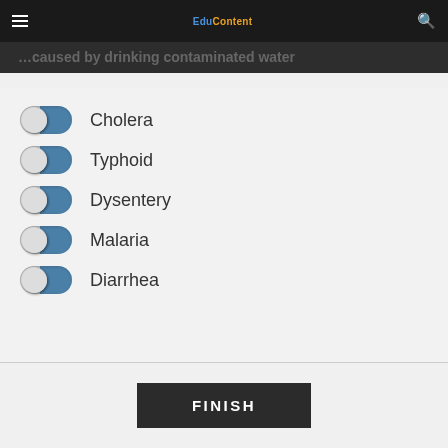EduContent app header with hamburger menu, logo, and search icon
…caused by drinking contaminated water
Cholera
Typhoid
Dysentery
Malaria
Diarrhea
FINISH